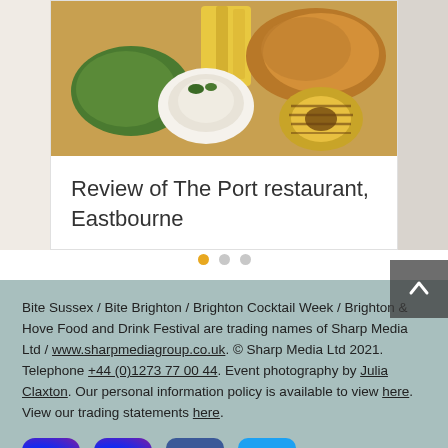[Figure (photo): Food photo showing fish and chips with mushy peas, tartar sauce in a white bowl, and a grilled pineapple ring on a plate]
Review of The Port restaurant, Eastbourne
[Figure (infographic): Carousel dot indicators: one orange filled dot and two grey dots]
Bite Sussex / Bite Brighton / Brighton Cocktail Week / Brighton & Hove Food and Drink Festival are trading names of Sharp Media Ltd / www.sharpmediagroup.co.uk. © Sharp Media Ltd 2021. Telephone +44 (0)1273 77 00 44. Event photography by Julia Claxton. Our personal information policy is available to view here. View our trading statements here.
[Figure (infographic): Social media icons row: two Instagram icons (gradient), Facebook icon (blue), Twitter icon (light blue)]